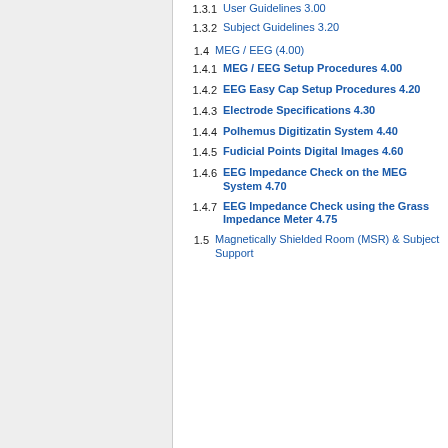1.3.1 User Guidelines 3.00
1.3.2 Subject Guidelines 3.20
1.4 MEG / EEG (4.00)
1.4.1 MEG / EEG Setup Procedures 4.00
1.4.2 EEG Easy Cap Setup Procedures 4.20
1.4.3 Electrode Specifications 4.30
1.4.4 Polhemus Digitizatin System 4.40
1.4.5 Fudicial Points Digital Images 4.60
1.4.6 EEG Impedance Check on the MEG System 4.70
1.4.7 EEG Impedance Check using the Grass Impedance Meter 4.75
1.5 Magnetically Shielded Room (MSR) & Subject Support